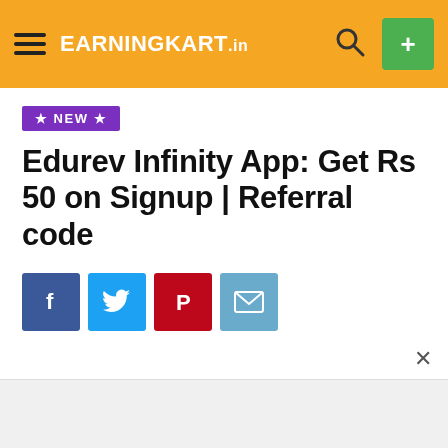EARNINGKART.in
★ NEW ★
Edurev Infinity App: Get Rs 50 on Signup | Referral code
[Figure (infographic): Social share buttons: Facebook, Twitter, Pinterest, Email]